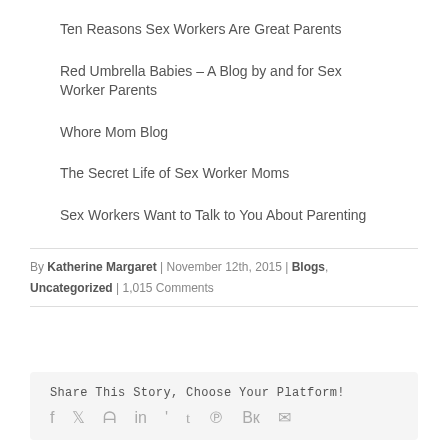Ten Reasons Sex Workers Are Great Parents
Red Umbrella Babies – A Blog by and for Sex Worker Parents
Whore Mom Blog
The Secret Life of Sex Worker Moms
Sex Workers Want to Talk to You About Parenting
By Katherine Margaret | November 12th, 2015 | Blogs, Uncategorized | 1,015 Comments
Share This Story, Choose Your Platform!